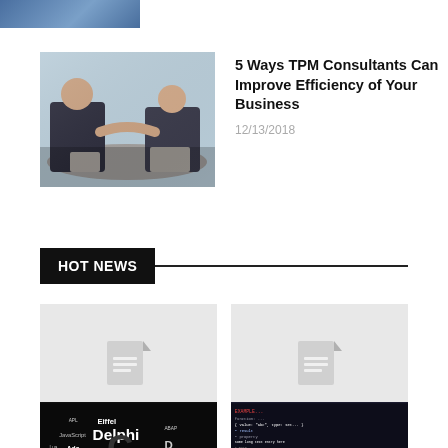[Figure (photo): Cropped top portion of a person in a suit]
[Figure (photo): Two business people shaking hands across a desk]
5 Ways TPM Consultants Can Improve Efficiency of Your Business
12/13/2018
HOT NEWS
[Figure (photo): Placeholder image with document icon, labeled Sponsored Post]
Sponsored Post
What Is Ransomware And How Can You Protect Your PC Against...
[Figure (photo): Placeholder image with document icon, labeled Sponsored Post]
Sponsored Post
Top 8 Computer Security Tips
[Figure (photo): Programming languages word cloud on dark background]
[Figure (screenshot): Dark terminal/code screenshot]